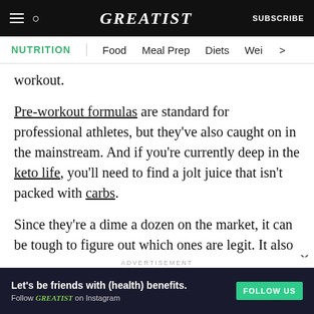GREATIST | SUBSCRIBE
NUTRITION | Food | Meal Prep | Diets | Wei >
workout.
Pre-workout formulas are standard for professional athletes, but they've also caught on in the mainstream. And if you're currently deep in the keto life, you'll need to find a jolt juice that isn't packed with carbs.
Since they're a dime a dozen on the market, it can be tough to figure out which ones are legit. It also
ADVERTISEMENT
[Figure (infographic): Advertisement banner: Let's be friends with (health) benefits. Follow GREATIST on Instagram. FOLLOW US button.]